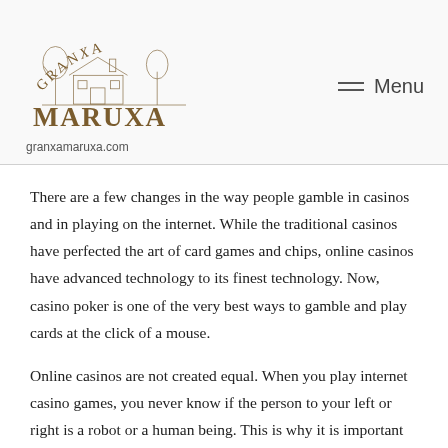[Figure (logo): Granxa Maruxa logo with sketch of farmhouse and trees, with stylized text 'GRANXA MARUXA' and website 'granxamaruxa.com']
There are a few changes in the way people gamble in casinos and in playing on the internet. While the traditional casinos have perfected the art of card games and chips, online casinos have advanced technology to its finest technology. Now, casino poker is one of the very best ways to gamble and play cards at the click of a mouse.
Online casinos are not created equal. When you play internet casino games, you never know if the person to your left or right is a robot or a human being. This is why it is important to first get to know the people behind the glitters and glamour of the